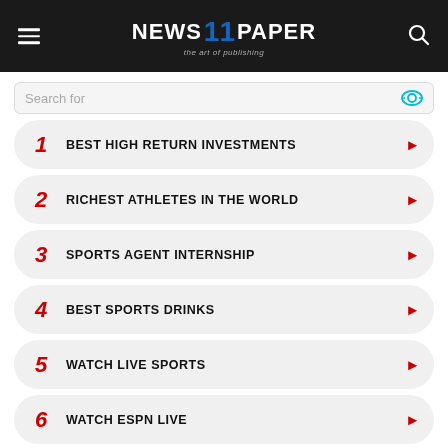NEWS 11 PAPER — the art of publishing
Search for
1 BEST HIGH RETURN INVESTMENTS
2 RICHEST ATHLETES IN THE WORLD
3 SPORTS AGENT INTERNSHIP
4 BEST SPORTS DRINKS
5 WATCH LIVE SPORTS
6 WATCH ESPN LIVE
Ad | Business Focus